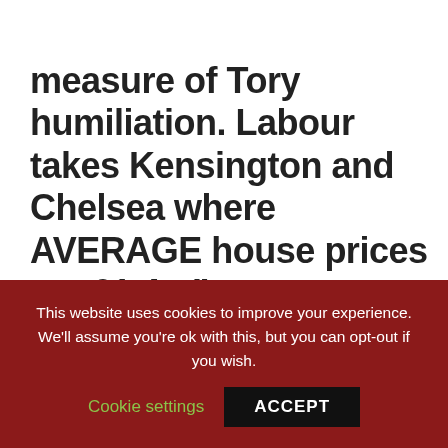measure of Tory humiliation. Labour takes Kensington and Chelsea where AVERAGE house prices are £1.4m”
Senior
[Figure (photo): Broken/missing image placeholder]
This website uses cookies to improve your experience. We’ll assume you’re ok with this, but you can opt-out if you wish.
Cookie settings   ACCEPT